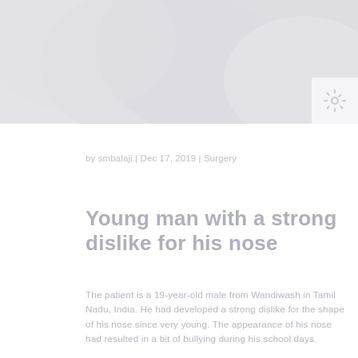[Figure (photo): Light grey header banner image with abstract soft shapes, likely a blurred medical or face-related photo in very light grey tones]
by smbalaji | Dec 17, 2019 | Surgery
Young man with a strong dislike for his nose
The patient is a 19-year-old male from Wandiwash in Tamil Nadu, India. He had developed a strong dislike for the shape of his nose since very young. The appearance of his nose had resulted in a bit of bullying during his school days.
There have however never been any breathing and feeding difficulties. He had always wished to have a narrower and sharper nose. The form of his nose, he felt, was very broad for his face. It appeared very bulky.